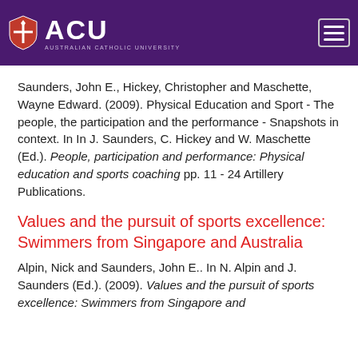ACU - Australian Catholic University
Saunders, John E., Hickey, Christopher and Maschette, Wayne Edward. (2009). Physical Education and Sport - The people, the participation and the performance - Snapshots in context. In In J. Saunders, C. Hickey and W. Maschette (Ed.). People, participation and performance: Physical education and sports coaching pp. 11 - 24 Artillery Publications.
Values and the pursuit of sports excellence: Swimmers from Singapore and Australia
Alpin, Nick and Saunders, John E.. In N. Alpin and J. Saunders (Ed.). (2009). Values and the pursuit of sports excellence: Swimmers from Singapore and